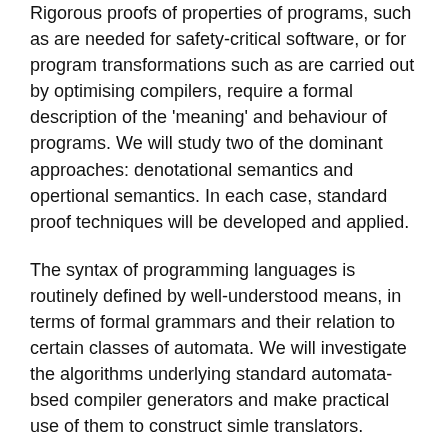Rigorous proofs of properties of programs, such as are needed for safety-critical software, or for program transformations such as are carried out by optimising compilers, require a formal description of the 'meaning' and behaviour of programs. We will study two of the dominant approaches: denotational semantics and opertional semantics. In each case, standard proof techniques will be developed and applied.
The syntax of programming languages is routinely defined by well-understood means, in terms of formal grammars and their relation to certain classes of automata. We will investigate the algorithms underlying standard automata-bsed compiler generators and make practical use of them to construct simle translators.
Learning Outcomes
Upon successful completion, students will have the knowledge and skills to: